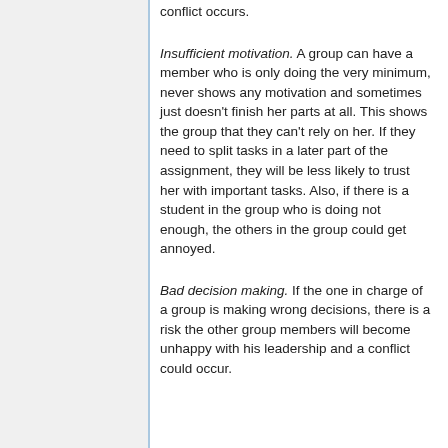conflict occurs.
Insufficient motivation. A group can have a member who is only doing the very minimum, never shows any motivation and sometimes just doesn't finish her parts at all. This shows the group that they can't rely on her. If they need to split tasks in a later part of the assignment, they will be less likely to trust her with important tasks. Also, if there is a student in the group who is doing not enough, the others in the group could get annoyed.
Bad decision making. If the one in charge of a group is making wrong decisions, there is a risk the other group members will become unhappy with his leadership and a conflict could occur.